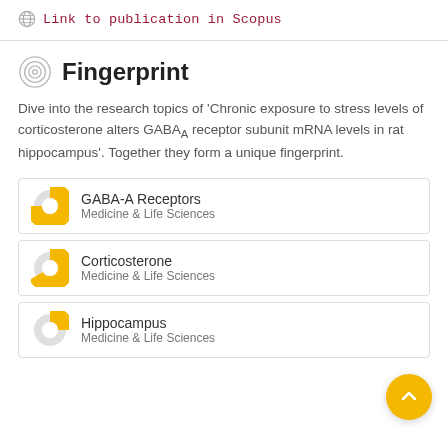Link to publication in Scopus
Fingerprint
Dive into the research topics of 'Chronic exposure to stress levels of corticosterone alters GABAA receptor subunit mRNA levels in rat hippocampus'. Together they form a unique fingerprint.
GABA-A Receptors
Medicine & Life Sciences
Corticosterone
Medicine & Life Sciences
Hippocampus
Medicine & Life Sciences